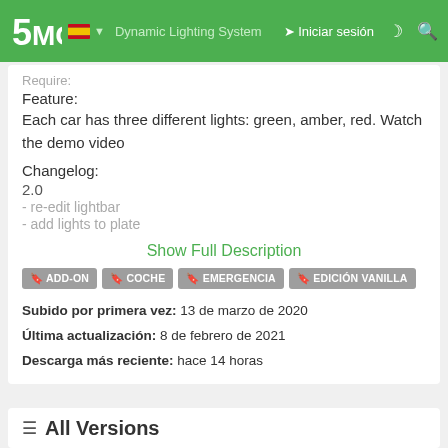5MODS — Dynamic Lighting System — Iniciar sesión
Require:
Feature:
Each car has three different lights: green, amber, red. Watch the demo video
Changelog:
2.0
- re-edit lightbar
- add lights to plate
Show Full Description
ADD-ON  COCHE  EMERGENCIA  EDICIÓN VANILLA
Subido por primera vez: 13 de marzo de 2020
Última actualización: 8 de febrero de 2021
Descarga más reciente: hace 14 horas
All Versions